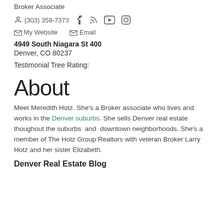Broker Associate
(303) 359-7373
My Website   Email
4949 South Niagara St 400
Denver, CO 80237
Testimonial Tree Rating:
About
Meet Meredith Hotz. She's a Broker associate who lives and works in the Denver suburbs. She sells Denver real estate thoughout the suburbs and downtown neighborhoods. She's a member of The Hotz Group Realtors with veteran Broker Larry Hotz and her sister Elizabeth.
Denver Real Estate Blog